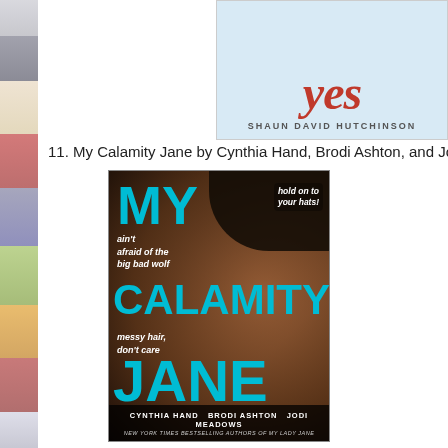[Figure (illustration): Partial book cover at top right showing large red/crimson stylized text and light blue background with author name SHAUN DAVID HUTCHINSON]
11. My Calamity Jane by Cynthia Hand, Brodi Ashton, and Jodi Meadows
[Figure (illustration): Book cover of My Calamity Jane showing a woman wearing a cowboy hat against dark background, with large cyan/turquoise text reading MY CALAMITY JANE, handwritten style phrases 'hold on to your hats!', 'ain't afraid of the big bad wolf', 'messy hair, don't care', and authors CYNTHIA HAND, BRODI ASHTON, JODI MEADOWS listed at bottom as NEW YORK TIMES BESTSELLING AUTHORS OF MY LADY JANE]